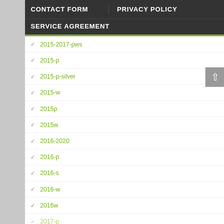CONTACT FORM | PRIVACY POLICY
SERVICE AGREEMENT
2015-2017-pws
2015-p
2015-p-silver
2015-w
2015p
2015w
2016-2020
2016-p
2016-s
2016-w
2016w
2017-p